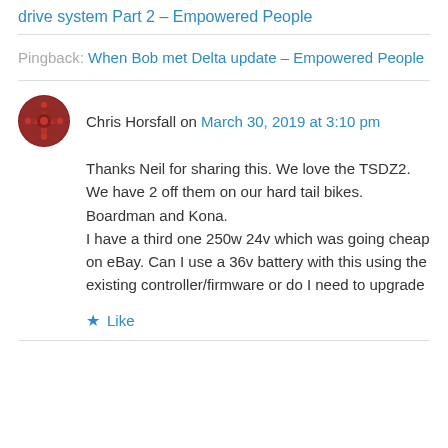drive system Part 2 – Empowered People
Pingback: When Bob met Delta update – Empowered People
Chris Horsfall on March 30, 2019 at 3:10 pm
Thanks Neil for sharing this. We love the TSDZ2. We have 2 off them on our hard tail bikes. Boardman and Kona.
I have a third one 250w 24v which was going cheap on eBay. Can I use a 36v battery with this using the existing controller/firmware or do I need to upgrade
Like
Reply